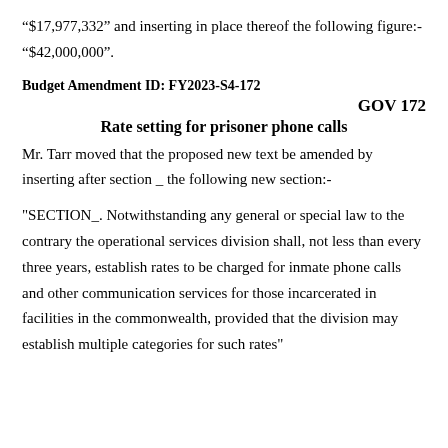“$17,977,332” and inserting in place thereof the following figure:- “$42,000,000”.
Budget Amendment ID: FY2023-S4-172
GOV 172
Rate setting for prisoner phone calls
Mr. Tarr moved that the proposed new text be amended by inserting after section _ the following new section:-
"SECTION_. Notwithstanding any general or special law to the contrary the operational services division shall, not less than every three years, establish rates to be charged for inmate phone calls and other communication services for those incarcerated in facilities in the commonwealth, provided that the division may establish multiple categories for such rates"